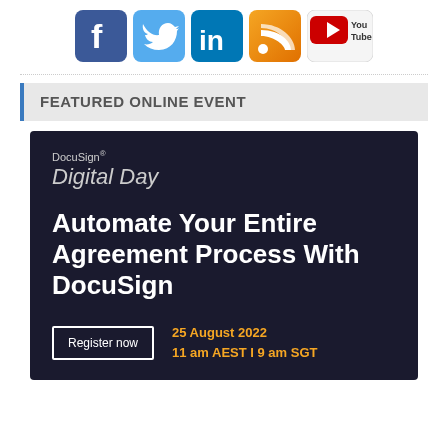[Figure (infographic): Row of social media icons: Facebook (blue), Twitter (light blue), LinkedIn (dark blue/teal), RSS feed (orange), YouTube (white/red with 'You Tube' text)]
FEATURED ONLINE EVENT
[Figure (infographic): DocuSign Digital Day advertisement banner with dark navy background. Text: 'DocuSign® Digital Day' followed by 'Automate Your Entire Agreement Process With DocuSign' in large bold white text. Bottom row shows 'Register now' button and '25 August 2022 / 11 am AEST I 9 am SGT' in orange text.]